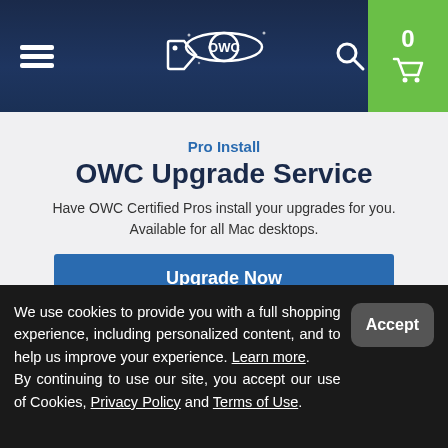OWC navigation bar with menu, tag, logo, search, and cart (0) icons
Pro Install
OWC Upgrade Service
Have OWC Certified Pros install your upgrades for you. Available for all Mac desktops.
Upgrade Now
We use cookies to provide you with a full shopping experience, including personalized content, and to help us improve your experience. Learn more. By continuing to use our site, you accept our use of Cookies, Privacy Policy and Terms of Use.